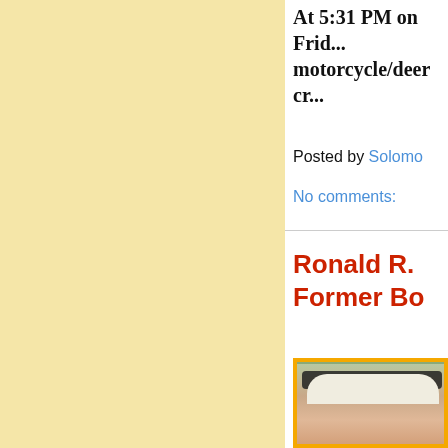At 5:31 PM on Frid... motorcycle/deer cr...
Posted by Solomon
No comments:
Ronald R. Former Bo
[Figure (photo): Portrait photo of an elderly person with white hair and sunglasses, against a green leafy background, framed with a golden/yellow border.]